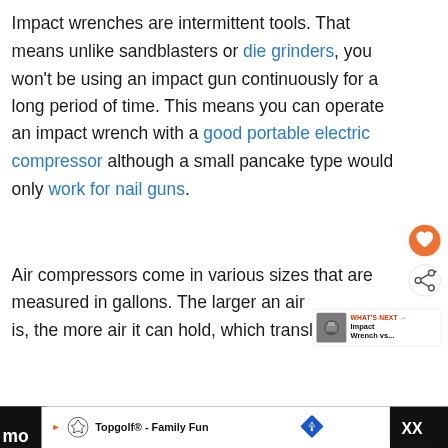Impact wrenches are intermittent tools. That means unlike sandblasters or die grinders, you won't be using an impact gun continuously for a long period of time. This means you can operate an impact wrench with a good portable electric compressor although a small pancake type would only work for nail guns.
Air compressors come in various sizes that are measured in gallons. The larger an air compressor is, the more air it can hold, which translates to mo...
[Figure (other): Orange heart/favorite FAB button and share FAB button overlaid on right side of page]
[Figure (other): What's Next card with thumbnail image, label 'WHAT'S NEXT ->' and title 'Impact Wrench vs...']
[Figure (other): Advertisement bar at bottom: Topgolf - Family Fun ad with logo and navigation diamond icon on dark background]